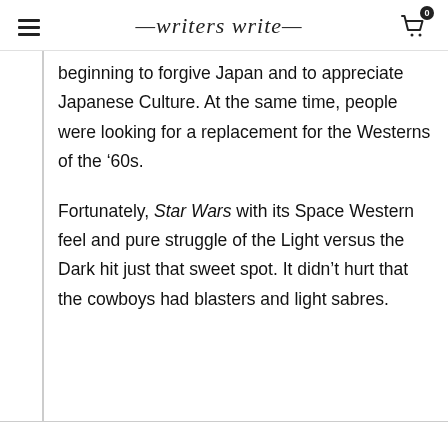writers write
beginning to forgive Japan and to appreciate Japanese Culture. At the same time, people were looking for a replacement for the Westerns of the ’60s.
Fortunately, Star Wars with its Space Western feel and pure struggle of the Light versus the Dark hit just that sweet spot. It didn’t hurt that the cowboys had blasters and light sabres.